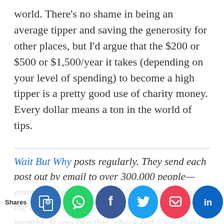world. There's no shame in being an average tipper and saving the generosity for other places, but I'd argue that the $200 or $500 or $1,500/year it takes (depending on your level of spending) to become a high tipper is a pretty good use of charity money. Every dollar means a ton in the world of tips.
Wait But Why posts regularly. They send each post out by email to over 300,000 people—enter your email here and they'll put you on the list (they only send a few emails each month). If you like this, check out Elon Musk: The World's Riskiest Entrepreneur and the volu... TheRoad...
Shares [social share buttons: STC, WhatsApp, Facebook, Twitter, Pocket, LinkedIn]